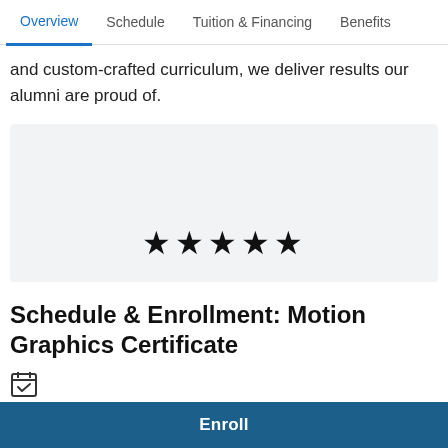Overview  Schedule  Tuition & Financing  Benefits
and custom-crafted curriculum, we deliver results our alumni are proud of.
[Figure (other): Light gray review card box with five black star rating icons centered near the bottom]
Schedule & Enrollment: Motion Graphics Certificate
[Figure (other): Calendar/checklist icon]
2 months (weekdays), or 4 months part-time
Enroll